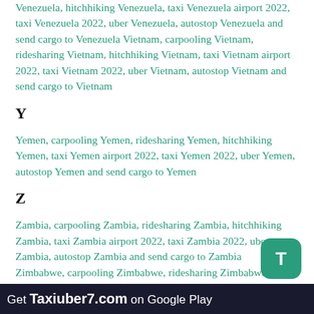Venezuela, hitchhiking Venezuela, taxi Venezuela airport 2022, taxi Venezuela 2022, uber Venezuela, autostop Venezuela and send cargo to Venezuela Vietnam, carpooling Vietnam, ridesharing Vietnam, hitchhiking Vietnam, taxi Vietnam airport 2022, taxi Vietnam 2022, uber Vietnam, autostop Vietnam and send cargo to Vietnam
Y
Yemen, carpooling Yemen, ridesharing Yemen, hitchhiking Yemen, taxi Yemen airport 2022, taxi Yemen 2022, uber Yemen, autostop Yemen and send cargo to Yemen
Z
Zambia, carpooling Zambia, ridesharing Zambia, hitchhiking Zambia, taxi Zambia airport 2022, taxi Zambia 2022, uber Zambia, autostop Zambia and send cargo to Zambia Zimbabwe, carpooling Zimbabwe, ridesharing Zimbabwe, hitchhiking Zimbabwe, taxi Zimbabwe airport 2022, taxi Zimbabwe 2022, uber Zimbabwe, autostop Zimbabwe and send cargo to Zimbabwe
Get Taxiuber7.com on Google Play